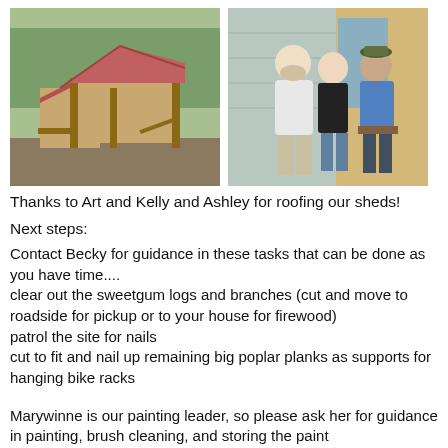[Figure (photo): Left photo: A small wooden shed/pavilion with a pink/red metal roof, open sides with wooden posts, surrounded by trees.]
[Figure (photo): Right photo: Three people standing in front of a building under construction — a bearded man in white, a woman in black, and a man in blue — posing together.]
Thanks to Art and Kelly and Ashley for roofing our sheds!
Next steps:
Contact Becky for guidance in these tasks that can be done as you have time....
clear out the sweetgum logs and branches (cut and move to roadside for pickup or to your house for firewood)
patrol the site for nails
cut to fit and nail up remaining big poplar planks as supports for hanging bike racks
Marywinne is our painting leader, so please ask her for guidance in painting, brush cleaning, and storing the paint